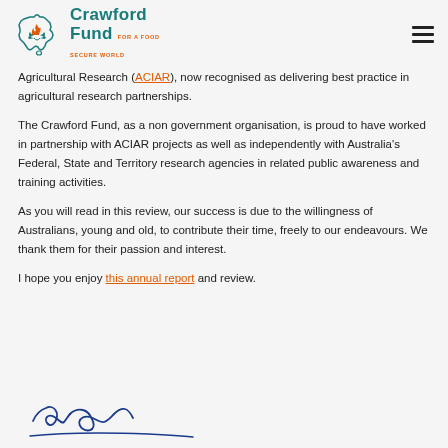[Figure (logo): Crawford Fund logo — outline of Australia with a plant/flame motif, teal text reading 'Crawford Fund FOR A FOOD SECURE WORLD']
Agricultural Research (ACIAR), now recognised as delivering best practice in agricultural research partnerships.
The Crawford Fund, as a non government organisation, is proud to have worked in partnership with ACIAR projects as well as independently with Australia's Federal, State and Territory research agencies in related public awareness and training activities.
As you will read in this review, our success is due to the willingness of Australians, young and old, to contribute their time, freely to our endeavours. We thank them for their passion and interest.
I hope you enjoy this annual report and review.
[Figure (photo): Handwritten signature in blue ink]